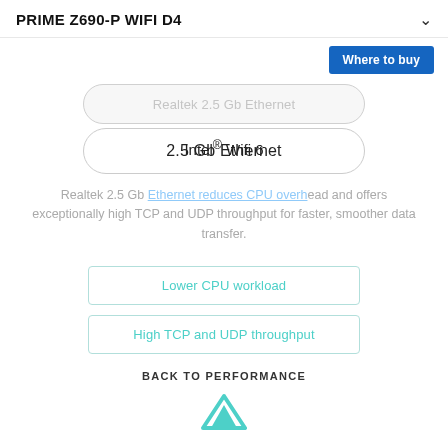PRIME Z690-P WIFI D4
Where to buy
Realtek 2.5 Gb Ethernet
Intel® Wifi 6
2.5 Gb Ethernet
Realtek 2.5 Gb Ethernet reduces CPU overhead and offers exceptionally high TCP and UDP throughput for faster, smoother data transfer.
Lower CPU workload
High TCP and UDP throughput
BACK TO PERFORMANCE